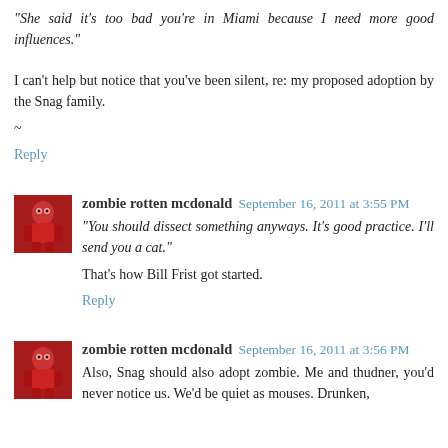"She said it's too bad you're in Miami because I need more good influences."
I can't help but notice that you've been silent, re: my proposed adoption by the Snag family.
~
Reply
zombie rotten mcdonald  September 16, 2011 at 3:55 PM
"You should dissect something anyways. It's good practice. I'll send you a cat."
That's how Bill Frist got started.
Reply
zombie rotten mcdonald  September 16, 2011 at 3:56 PM
Also, Snag should also adopt zombie. Me and thudner, you'd never notice us. We'd be quiet as mouses. Drunken,